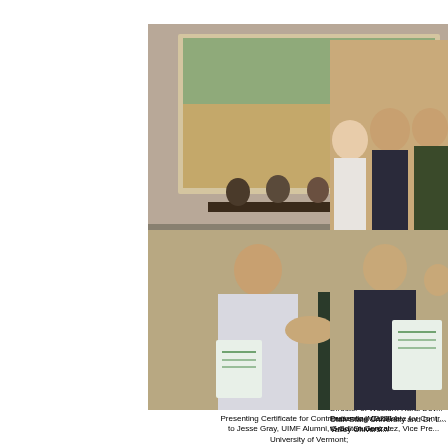[Figure (photo): Members of the Panel of Utah Scholars seated at a long table during Q & A session, with audience visible in foreground and a projected image in background.]
Members of the Panel of Utah Scholars on Family Farming during Q & A session;
[Figure (photo): Panel of Utah Scholars on Family Farming (Left to Right): Dr. Carol Ward, Brigham Young University; Dr. David Wilson, Utah Valley University; Dr. Torlina, Utah Valley University; Dr. Gast, Director of Western Rural Development Center, Utah State University and Dr. L., Utah Valley University.]
Panel of Utah Scholars on Family Farming (Left to Right): Dr. Carol Ward, Brigham Young University; Dr. David Wilson, Utah Valley University; Dr. Torlina, Utah Valley University; Director of Western Rural Dev... Utah State University and Dr. L... Valley Universi...
[Figure (photo): Two men shaking hands, one presenting a certificate to the other at the IMD2014 event.]
Presenting Certificate for Contribution to IMD2014 to Jesse Gray, UIMF Alumni, Grad. Student at University of Vermont;
[Figure (photo): Man in suit holding a certificate, another person partially visible beside him presenting the certificate.]
Presenting Certificate for Contr... to Colton Gonzalez, Vice Pre...